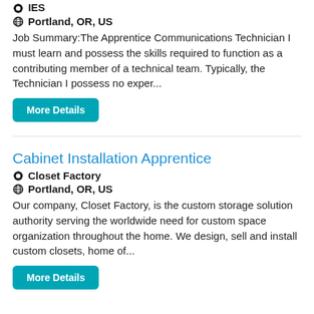IES
Portland, OR, US
Job Summary:The Apprentice Communications Technician I must learn and possess the skills required to function as a contributing member of a technical team. Typically, the Technician I possess no exper...
More Details
Cabinet Installation Apprentice
Closet Factory
Portland, OR, US
Our company, Closet Factory, is the custom storage solution authority serving the worldwide need for custom space organization throughout the home. We design, sell and install custom closets, home of...
More Details